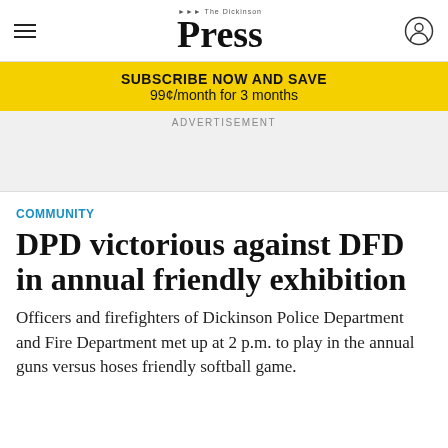The Dickinson Press
SUBSCRIBE NOW AND SAVE
99¢/month for 3 months
ADVERTISEMENT
COMMUNITY
DPD victorious against DFD in annual friendly exhibition
Officers and firefighters of Dickinson Police Department and Fire Department met up at 2 p.m. to play in the annual guns versus hoses friendly softball game.